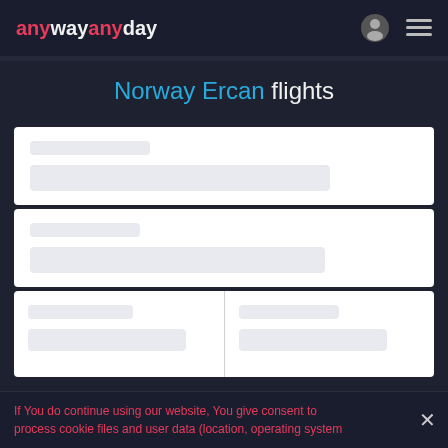anywayanyday
Norway Ercan flights
[Figure (screenshot): Loading skeleton card 1 with two placeholder bars]
[Figure (screenshot): Loading skeleton card 2 with two placeholder bars]
[Figure (screenshot): Loading skeleton card 3 split into two columns each with placeholder bars]
If You do continue using our website, You give consent to process cookie files and user data (location, operating system